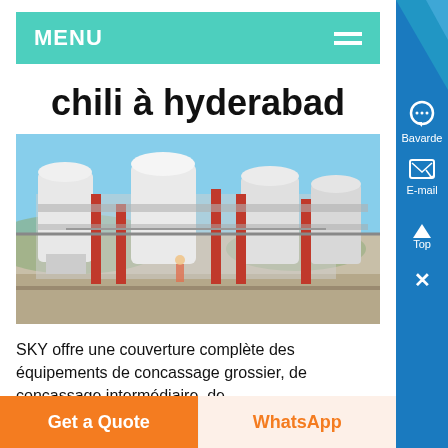MENU
chili à hyderabad
[Figure (photo): Industrial plant with large white silos/cylinders and red steel structures, outdoor facility under blue sky]
SKY offre une couverture complète des équipements de concassage grossier, de concassage intermédiaire, de
Get a Quote
WhatsApp